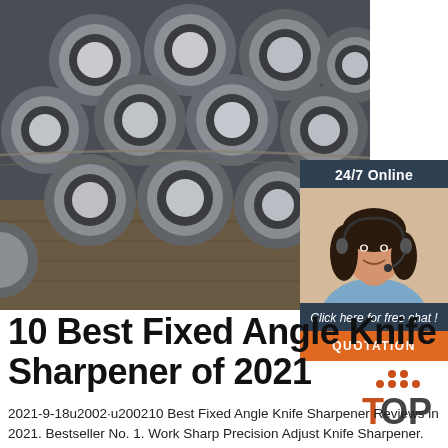[Figure (photo): Bundle of steel tubes/pipes stacked together, viewed from the front ends, industrial setting]
[Figure (infographic): 24/7 Online chat widget with a smiling female customer service representative wearing a headset, with 'Click here for free chat!' text and an orange QUOTATION button]
10 Best Fixed Angle Knife Sharpener of 2021
[Figure (logo): TOP logo in orange with triangular dot pattern above the text]
2021-9-18u2002·u200210 Best Fixed Angle Knife Sharpener Reviews in 2021. Bestseller No. 1. Work Sharp Precision Adjust Knife Sharpener. The